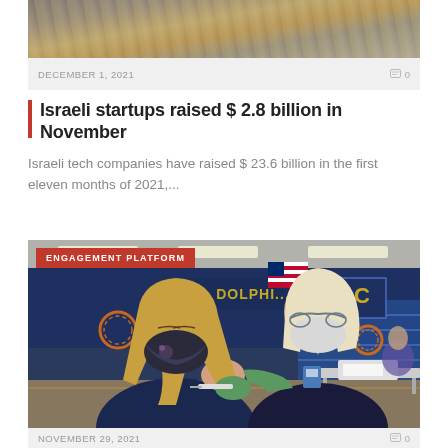[Figure (photo): Close-up of dollar bills and coins]
DECEMBER 1, 2021   0
Israeli startups raised $ 2.8 billion in November
Israeli tech companies have raised $ 23.6 billion in the first eleven months of 2021,...
[Figure (photo): A healthcare worker administering a vaccine injection to a woman wearing a mask inside a school gymnasium. An American flag and blue Dolphins banner are visible in the background. A red label reads ENGAGEMENT PLATFORM.]
NOVEMBER 29, 2021   0